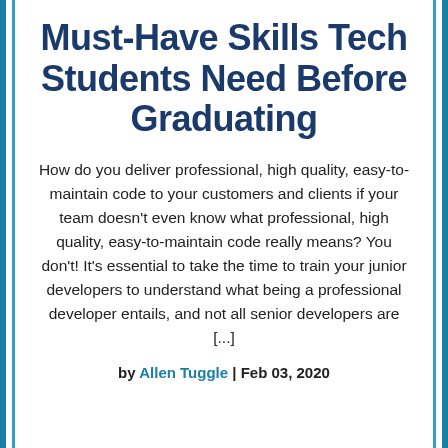Must-Have Skills Tech Students Need Before Graduating
How do you deliver professional, high quality, easy-to-maintain code to your customers and clients if your team doesn't even know what professional, high quality, easy-to-maintain code really means? You don't! It's essential to take the time to train your junior developers to understand what being a professional developer entails, and not all senior developers are [...]
by Allen Tuggle | Feb 03, 2020